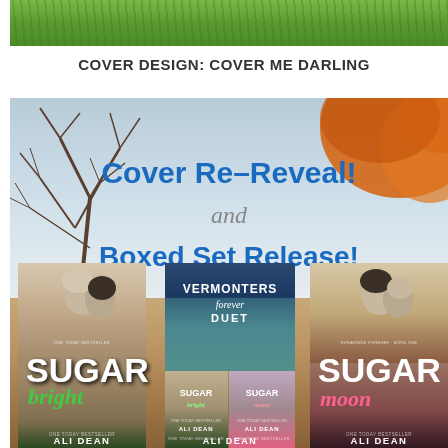[Figure (photo): Green grass strip photo at the top of the page]
COVER DESIGN: COVER ME DARLING
[Figure (illustration): Book cover re-reveal promotional image for Ali Dean books. Shows autumnal outdoor background with bare trees on the left and colorful foliage on the right. Text reads 'Cover Re-Reveal! and Boxed Set Release!' in blue and gray. Three book covers shown at the bottom: Sugar Bright (left), Vermonters Forever Duet boxed set (center), and Sugar Moon (right), all by Ali Dean.]